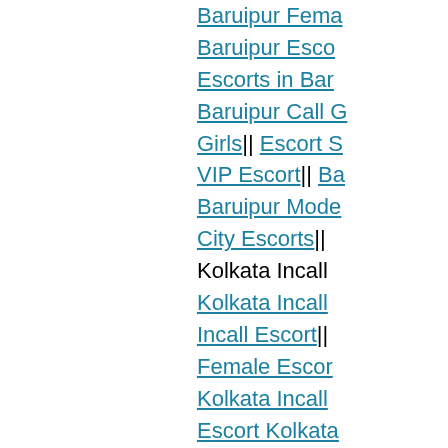Baruipur Fema...
Baruipur Esco...
Escorts in Bar...
Baruipur Call G...
Girls|| Escort S...
VIP Escort|| Ba...
Baruipur Mode...
City Escorts||
Kolkata Incall
Kolkata Incall ...
Incall Escort|| ...
Female Escor...
Kolkata Incall ...
Escort Kolkata...
College Girls E...
Call Girls|| Kol...
Kolkata Incall||...
VIP Escort|| Ko...
Call Girls|| Kol...
Housewife Esc...
Kolkata Outca...
Kolkata Outca...
Escort Service...
Escort|| Kolkat...
Escort|| Kolkat...